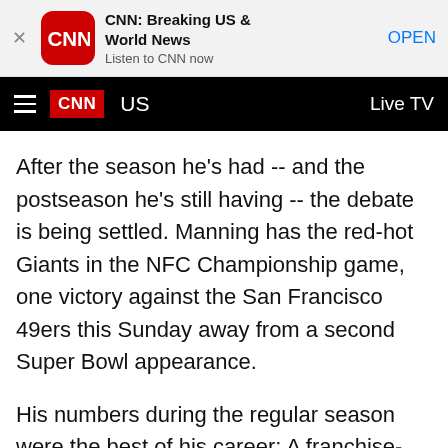[Figure (screenshot): CNN app banner ad with CNN logo icon, app title 'CNN: Breaking US & World News', subtitle 'Listen to CNN now', and OPEN button]
CNN   US   Live TV
After the season he's had -- and the postseason he's still having -- the debate is being settled. Manning has the red-hot Giants in the NFC Championship game, one victory against the San Francisco 49ers this Sunday away from a second Super Bowl appearance.
His numbers during the regular season were the best of his career: A franchise-record 4,933 yards, 29 touchdown passes and 16 interceptions (down